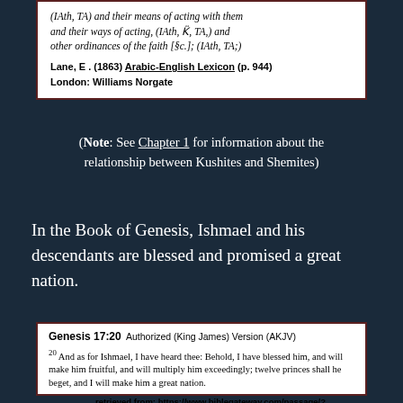(IAth, TA) and their means of acting with them and their ways of acting, (IAth, K, TA,) and other ordinances of the faith [&c.]; (IAth, TA;)
Lane, E. (1863) Arabic-English Lexicon (p. 944) London: Williams Norgate
(Note: See Chapter 1 for information about the relationship between Kushites and Shemites)
In the Book of Genesis, Ishmael and his descendants are blessed and promised a great nation.
Genesis 17:20  Authorized (King James) Version (AKJV)
20 And as for Ishmael, I have heard thee: Behold, I have blessed him, and will make him fruitful, and will multiply him exceedingly; twelve princes shall he beget, and I will make him a great nation.
retrieved from: https://www.biblegateway.com/passage/?search=gen+17%3A20&version=AKJV